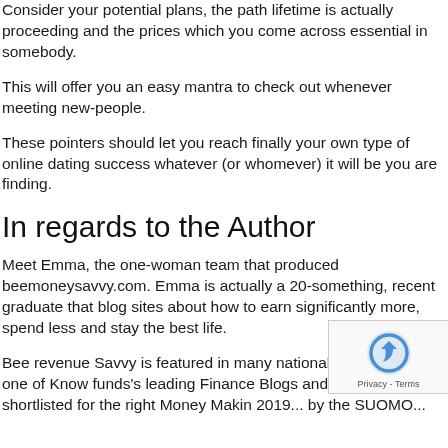Consider your potential plans, the path lifetime is actually proceeding and the prices which you come across essential in somebody.
This will offer you an easy mantra to check out whenever meeting new-people.
These pointers should let you reach finally your own type of online dating success whatever (or whomever) it will be you are finding.
In regards to the Author
Meet Emma, the one-woman team that produced beemoneysavvy.com. Emma is actually a 20-something, recent graduate that blog sites about how to earn significantly more, spend less and stay the best life.
Bee revenue Savvy is featured in many national papers listed as one of Know funds's leading Finance Blogs and it has been shortlisted for the right Money Making 2019... by the SUOMO...